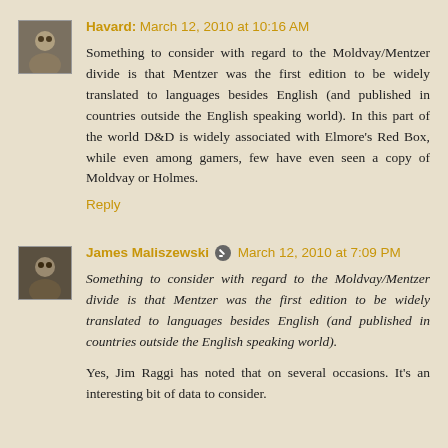[Figure (photo): Small avatar image of user Havard]
Havard: March 12, 2010 at 10:16 AM
Something to consider with regard to the Moldvay/Mentzer divide is that Mentzer was the first edition to be widely translated to languages besides English (and published in countries outside the English speaking world). In this part of the world D&D is widely associated with Elmore's Red Box, while even among gamers, few have even seen a copy of Moldvay or Holmes.
Reply
[Figure (photo): Small avatar image of user James Maliszewski]
James Maliszewski  March 12, 2010 at 7:09 PM
Something to consider with regard to the Moldvay/Mentzer divide is that Mentzer was the first edition to be widely translated to languages besides English (and published in countries outside the English speaking world).
Yes, Jim Raggi has noted that on several occasions. It's an interesting bit of data to consider.